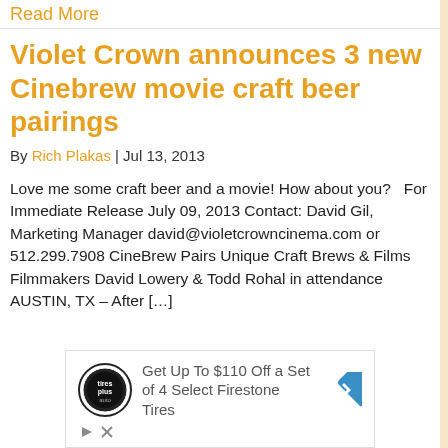Read More
Violet Crown announces 3 new Cinebrew movie craft beer pairings
By Rich Plakas  |  Jul 13, 2013
Love me some craft beer and a movie! How about you?   For Immediate Release July 09, 2013 Contact: David Gil, Marketing Manager david@violetcrowncinema.com or 512.299.7908 CineBrew Pairs Unique Craft Brews & Films Filmmakers David Lowery & Todd Rohal in attendance AUSTIN, TX – After […]
[Figure (infographic): Advertisement: Get Up To $110 Off a Set of 4 Select Firestone Tires, with Tires Plus Auto logo and navigation arrow icon]